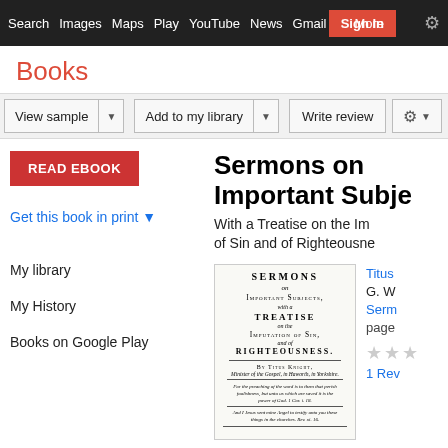Search Images Maps Play YouTube News Gmail Dr Sign In More
Books
View sample | Add to my library | Write review
[Figure (screenshot): READ EBOOK button (red background, white text)]
Get this book in print ▼
My library
My History
Books on Google Play
Sermons on Important Subjects
With a Treatise on the Imputation of Sin and of Righteousness
[Figure (photo): Book cover of Sermons on Important Subjects by Titus Knight showing old typeset title page with text: SERMONS on Important Subjects, with a Treatise on the Imputation of Sin, and of Righteousness. By Titus Knight, Minister of the Gospel, in Haworth, in Yorkshire.]
Titus
G. W
Serm
page
1 Rev